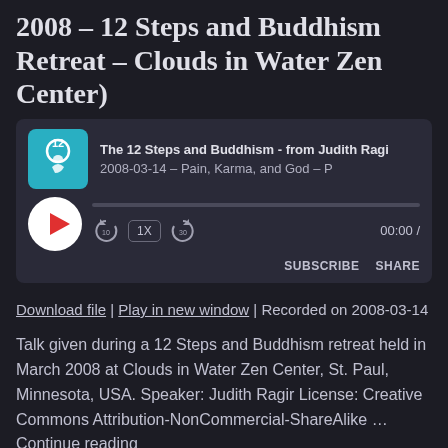2008 – 12 Steps and Buddhism Retreat – Clouds in Water Zen Center)
[Figure (screenshot): Podcast audio player widget with icon showing '12' and a Buddha figure, episode title 'The 12 Steps and Buddhism - from Judith Ragir', episode date '2008-03-14 - Pain, Karma, and God -', play button, progress bar, speed controls (1X), skip buttons (10 back, 30 forward), time display '00:00 /', SUBSCRIBE and SHARE buttons.]
Download file | Play in new window | Recorded on 2008-03-14
Talk given during a 12 Steps and Buddhism retreat held in March 2008 at Clouds in Water Zen Center, St. Paul, Minnesota, USA. Speaker: Judith Ragir License: Creative Commons Attribution-NonCommercial-ShareAlike … Continue reading
2007-05-20 – Overview of the 12